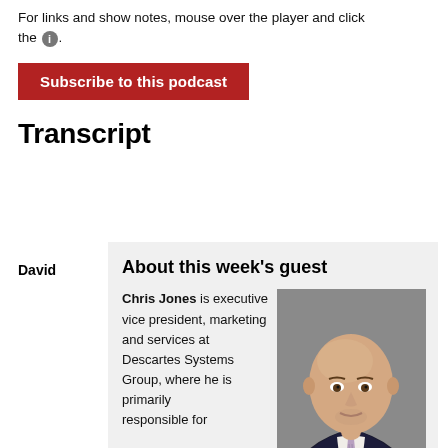For links and show notes, mouse over the player and click the ℹ.
Subscribe to this podcast
Transcript
David
About this week's guest
Chris Jones is executive vice president, marketing and services at Descartes Systems Group, where he is primarily responsible for
[Figure (photo): Headshot of Chris Jones, a middle-aged bald man in a dark suit with a striped tie, photographed against a grey background.]